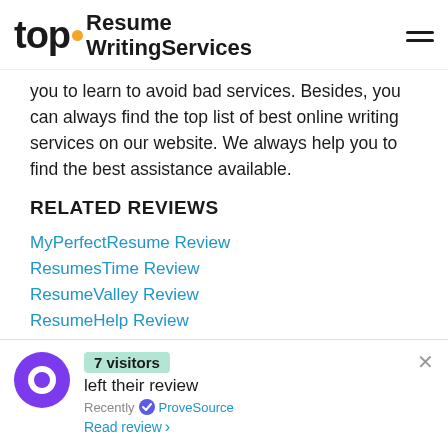top • Resume WritingServices
you to learn to avoid bad services. Besides, you can always find the top list of best online writing services on our website. We always help you to find the best assistance available.
RELATED REVIEWS
MyPerfectResume Review
ResumesTime Review
ResumeValley Review
ResumeHelp Review
FAQ
You can check the most frequently asked questions
[Figure (infographic): ProveSource popup notification showing '7 visitors left their review Recently via ProveSource' with a purple circular icon and a 'Read review' link]